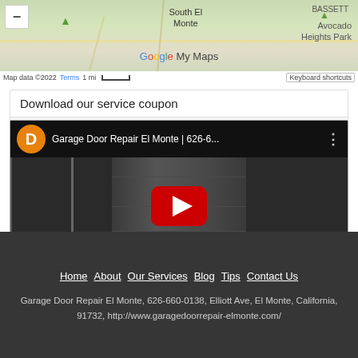[Figure (screenshot): Google My Maps screenshot showing South El Monte area with map controls, scale bar, Terms link, and Keyboard shortcuts button]
Download our service coupon
[Figure (screenshot): YouTube video thumbnail for 'Garage Door Repair El Monte | 626-6...' with orange D avatar, play button, and garage door image]
Home  About  Our Services  Blog  Tips  Contact Us
Garage Door Repair El Monte, 626-660-0138, Elliott Ave, El Monte, California, 91732, http://www.garagedoorrepair-elmonte.com/